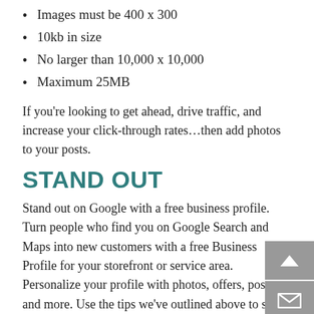Images must be 400 x 300
10kb in size
No larger than 10,000 x 10,000
Maximum 25MB
If you’re looking to get ahead, drive traffic, and increase your click-through rates…then add photos to your posts.
STAND OUT
Stand out on Google with a free business profile. Turn people who find you on Google Search and Maps into new customers with a free Business Profile for your storefront or service area. Personalize your profile with photos, offers, posts, and more. Use the tips we’ve outlined above to stand out and be found…before your competition does.